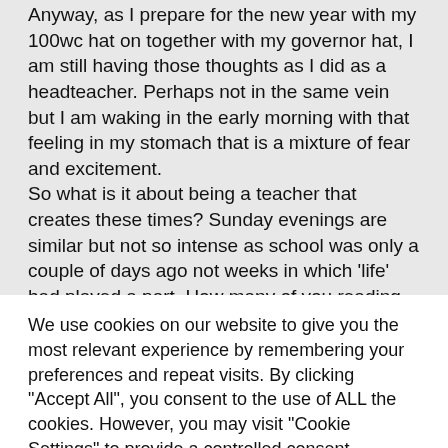Anyway, as I prepare for the new year with my 100wc hat on together with my governor hat, I am still having those thoughts as I did as a headteacher. Perhaps not in the same vein but I am waking in the early morning with that feeling in my stomach that is a mixture of fear and excitement. So what is it about being a teacher that creates these times? Sunday evenings are similar but not so intense as school was only a couple of days ago not weeks in which 'life' had played a part. How many of you reading this were able to completely put the
We use cookies on our website to give you the most relevant experience by remembering your preferences and repeat visits. By clicking "Accept All", you consent to the use of ALL the cookies. However, you may visit "Cookie Settings" to provide a controlled consent.